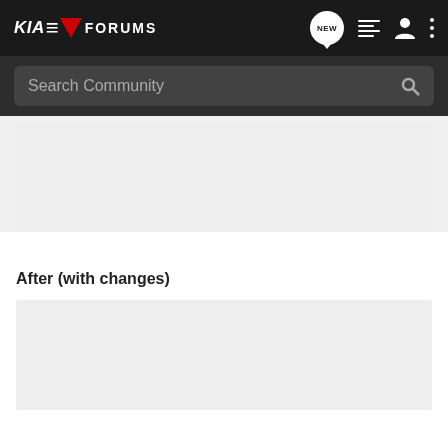KIA EV FORUMS
Search Community
[Figure (other): Gray placeholder advertisement box (before changes)]
After (with changes)
[Figure (other): Gray placeholder advertisement box (after changes)]